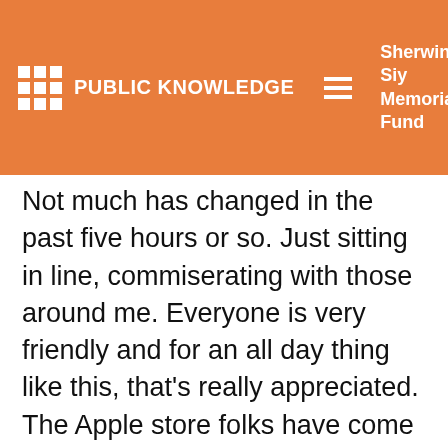PUBLIC KNOWLEDGE  Sherwin Siy Memorial Fund  Donate
Not much has changed in the past five hours or so. Just sitting in line, commiserating with those around me. Everyone is very friendly and for an all day thing like this, that's really appreciated. The Apple store folks have come out to greet everyone, and even passed out bottles water to everyone. An Apple rep stopped by and when asked if there will be some surprises come 6PM, he smiled and said we'll just have to wait and see. We're slowly approaching that